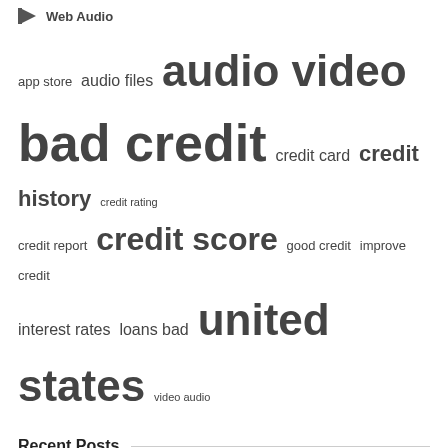Web Audio
[Figure (infographic): Tag cloud with terms: app store, audio files, audio video (large), bad credit (very large), credit card, credit history, credit rating (small), credit report, credit score (large), good credit, improve credit, interest rates, loans bad, united states (very large), video audio]
Recent Posts
Factors to Take into Consideration When Obtaining a Short-term Loans for Minimum Credit Score
Online hub a ‘one stop shop’ for domestic violence help in Alberta
Kohl's promotes veteran executive to top marketing job